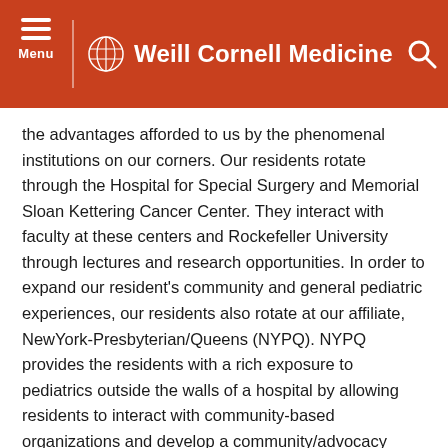Weill Cornell Medicine
the advantages afforded to us by the phenomenal institutions on our corners. Our residents rotate through the Hospital for Special Surgery and Memorial Sloan Kettering Cancer Center. They interact with faculty at these centers and Rockefeller University through lectures and research opportunities. In order to expand our resident's community and general pediatric experiences, our residents also rotate at our affiliate, NewYork-Presbyterian/Queens (NYPQ). NYPQ provides the residents with a rich exposure to pediatrics outside the walls of a hospital by allowing residents to interact with community-based organizations and develop a community/advocacy project.
We also believe it is important for our residents to be exposed to global health topics. Weill Cornell Medical